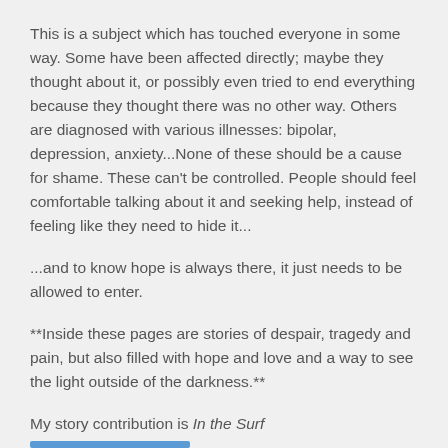This is a subject which has touched everyone in some way. Some have been affected directly; maybe they thought about it, or possibly even tried to end everything because they thought there was no other way. Others are diagnosed with various illnesses: bipolar, depression, anxiety...None of these should be a cause for shame. These can't be controlled. People should feel comfortable talking about it and seeking help, instead of feeling like they need to hide it...
...and to know hope is always there, it just needs to be allowed to enter.
**Inside these pages are stories of despair, tragedy and pain, but also filled with hope and love and a way to see the light outside of the darkness.**
My story contribution is In the Surf